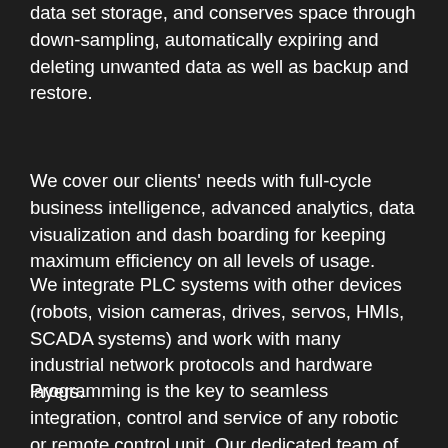data set storage, and conserves space through down-sampling, automatically expiring and deleting unwanted data as well as backup and restore.
We cover our clients' needs with full-cycle business intelligence, advanced analytics, data visualization and dash boarding for keeping maximum efficiency on all levels of usage.
We integrate PLC systems with other devices (robots, vision cameras, drives, servos, HMIs, SCADA systems) and work with many industrial network protocols and hardware layers.
Programming is the key to seamless integration, control and service of any robotic or remote control unit. Our dedicated team of industry-certified programmers are capable of programming a complex and custom network of devices and components which are controlled by